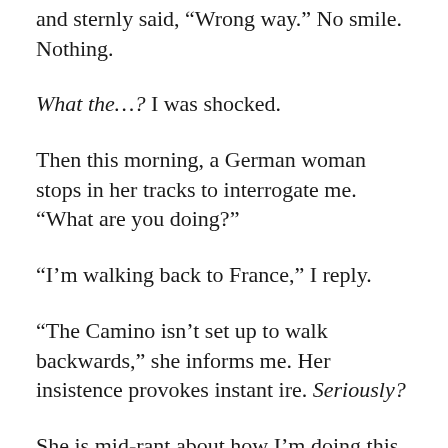and sternly said, “Wrong way.” No smile. Nothing.
What the…? I was shocked.
Then this morning, a German woman stops in her tracks to interrogate me. “What are you doing?”
“I’m walking back to France,” I reply.
“The Camino isn’t set up to walk backwards,” she informs me. Her insistence provokes instant ire. Seriously?
She is mid-rant about how I’m doing this incorrectly when I interrupt her to say, “In the past, Santiago was halfway. I’ve already walked it once, so now I’m finishing.” Then, annoyed, I continue walking and say over my shoulder, “Buen